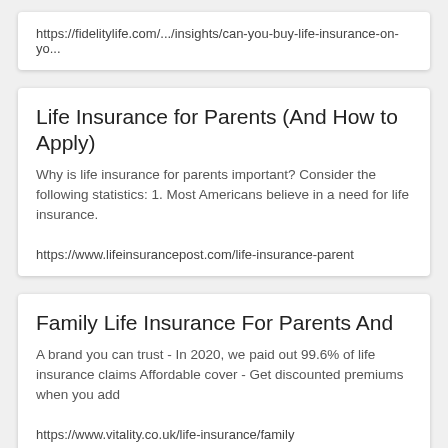https://fidelitylife.com/.../insights/can-you-buy-life-insurance-on-yo...
Life Insurance for Parents (And How to Apply)
Why is life insurance for parents important? Consider the following statistics: 1. Most Americans believe in a need for life insurance.
https://www.lifeinsurancepost.com/life-insurance-parent
Family Life Insurance For Parents And
A brand you can trust - In 2020, we paid out 99.6% of life insurance claims Affordable cover - Get discounted premiums when you add
https://www.vitality.co.uk/life-insurance/family